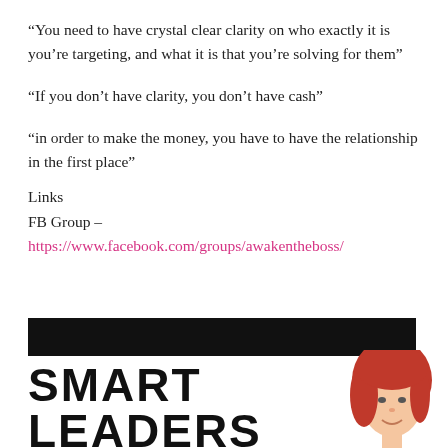“You need to have crystal clear clarity on who exactly it is you’re targeting, and what it is that you’re solving for them”
“If you don’t have clarity, you don’t have cash”
“in order to make the money, you have to have the relationship in the first place”
Links
FB Group –  https://www.facebook.com/groups/awakentheboss/
[Figure (other): Black banner bar and Smart Leaders section with red-haired woman photo and bold text SMART LEADERS at bottom of page]